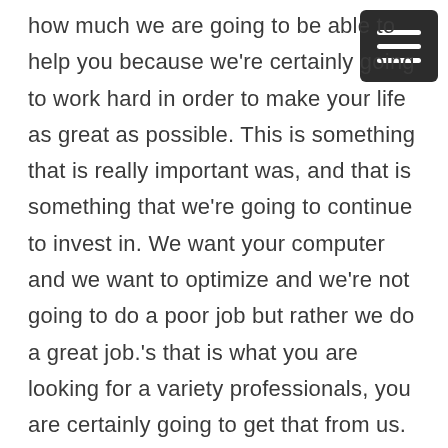how much we are going to be able to help you because we're certainly going to work hard in order to make your life as great as possible. This is something that is really important was, and that is something that we're going to continue to invest in. We want your computer and we want to optimize and we're not going to do a poor job but rather we do a great job.'s that is what you are looking for a variety professionals, you are certainly going to get that from us. So excited about the social is our team because we are going to be able to make you feel comfortable, and many IT professionals and we are not capable of that whereas, we're certainly capable of that and much more.